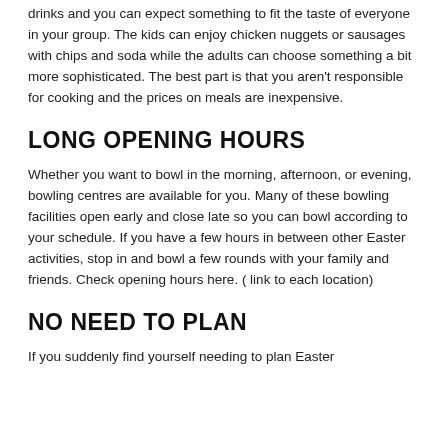drinks and you can expect something to fit the taste of everyone in your group. The kids can enjoy chicken nuggets or sausages with chips and soda while the adults can choose something a bit more sophisticated. The best part is that you aren't responsible for cooking and the prices on meals are inexpensive.
LONG OPENING HOURS
Whether you want to bowl in the morning, afternoon, or evening, bowling centres are available for you. Many of these bowling facilities open early and close late so you can bowl according to your schedule. If you have a few hours in between other Easter activities, stop in and bowl a few rounds with your family and friends. Check opening hours here. ( link to each location)
NO NEED TO PLAN
If you suddenly find yourself needing to plan Easter